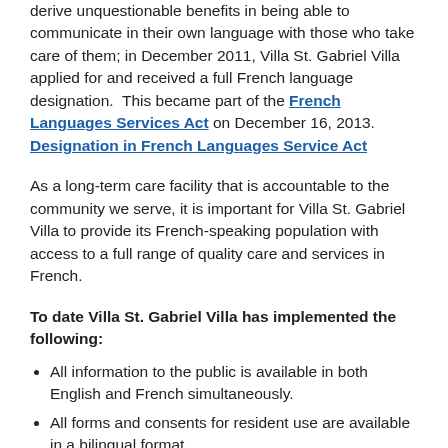derive unquestionable benefits in being able to communicate in their own language with those who take care of them; in December 2011, Villa St. Gabriel Villa applied for and received a full French language designation.  This became part of the French Languages Services Act on December 16, 2013. Designation in French Languages Service Act
As a long-term care facility that is accountable to the community we serve, it is important for Villa St. Gabriel Villa to provide its French-speaking population with access to a full range of quality care and services in French.
To date Villa St. Gabriel Villa has implemented the following:
All information to the public is available in both English and French simultaneously.
All forms and consents for resident use are available in a bilingual format.
Communication with the public are available in both